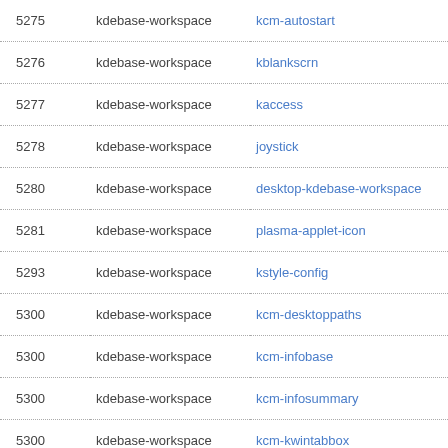| ID | Package | Name | Icon |
| --- | --- | --- | --- |
| 5275 | kdebase-workspace | kcm-autostart |  |
| 5276 | kdebase-workspace | kblankscrn |  |
| 5277 | kdebase-workspace | kaccess |  |
| 5278 | kdebase-workspace | joystick |  |
| 5280 | kdebase-workspace | desktop-kdebase-workspace |  |
| 5281 | kdebase-workspace | plasma-applet-icon |  |
| 5293 | kdebase-workspace | kstyle-config |  |
| 5300 | kdebase-workspace | kcm-desktoppaths |  |
| 5300 | kdebase-workspace | kcm-infobase |  |
| 5300 | kdebase-workspace | kcm-infosummary |  |
| 5300 | kdebase-workspace | kcm-kwintabbox |  |
| 5300 | kdebase-workspace | kcmdevinfo |  |
| 5300 | kdebase-workspace | kcmworkspaceoptions |  |
| 5300 | kdebase-workspace | plasma-applet-currentappcontrol |  |